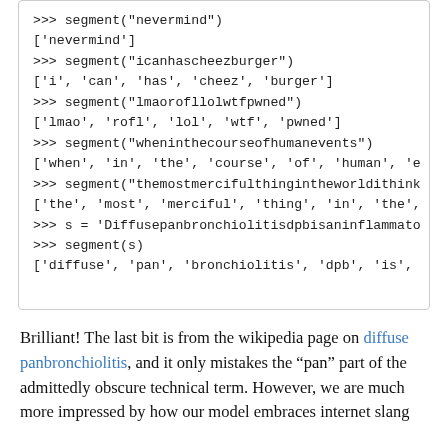>>> segment("nevermind")
['nevermind']
>>> segment("icanhascheezburger")
['i', 'can', 'has', 'cheez', 'burger']
>>> segment("lmaorofllolwtfpwned")
['lmao', 'rofl', 'lol', 'wtf', 'pwned']
>>> segment("wheninthecourseofhumanevents")
['when', 'in', 'the', 'course', 'of', 'human', 'e
>>> segment("themostmercifulthingintheworldithink
['the', 'most', 'merciful', 'thing', 'in', 'the',
>>> s = 'Diffusepanbronchiolitisdpbisaninflammato
>>> segment(s)
['diffuse', 'pan', 'bronchiolitis', 'dpb', 'is',
Brilliant! The last bit is from the wikipedia page on diffuse panbronchiolitis, and it only mistakes the "pan" part of the admittedly obscure technical term. However, we are much more impressed by how our model embraces internet slang